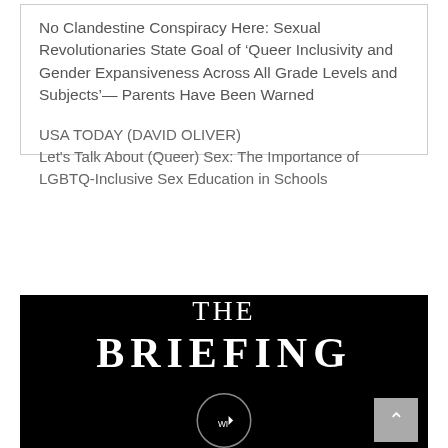No Clandestine Conspiracy Here: Sexual Revolutionaries State Goal of ‘Queer Inclusivity and Gender Expansiveness Across All Grade Levels and Subjects’— Parents Have Been Warned
USA TODAY (DAVID OLIVER)
Let's Talk About (Queer) Sex: The Importance of LGBTQ-Inclusive Sex Education in Schools
[Figure (screenshot): Black panel showing 'THE BRIEFING' podcast logo in white serif text with a circular play button below it, and a grey scroll-up arrow button in the bottom right corner.]